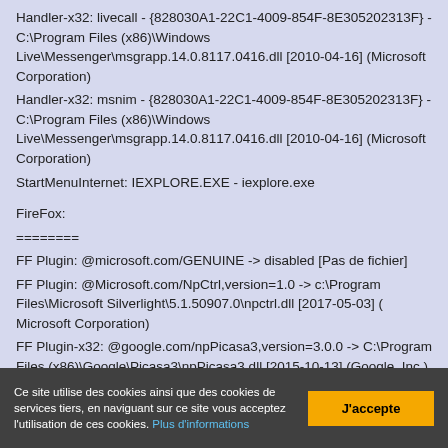Handler-x32: livecall - {828030A1-22C1-4009-854F-8E305202313F} - C:\Program Files (x86)\Windows Live\Messenger\msgrapp.14.0.8117.0416.dll [2010-04-16] (Microsoft Corporation)
Handler-x32: msnim - {828030A1-22C1-4009-854F-8E305202313F} - C:\Program Files (x86)\Windows Live\Messenger\msgrapp.14.0.8117.0416.dll [2010-04-16] (Microsoft Corporation)
StartMenuInternet: IEXPLORE.EXE - iexplore.exe
FireFox:
========
FF Plugin: @microsoft.com/GENUINE -> disabled [Pas de fichier]
FF Plugin: @Microsoft.com/NpCtrl,version=1.0 -> c:\Program Files\Microsoft Silverlight\5.1.50907.0\npctrl.dll [2017-05-03] ( Microsoft Corporation)
FF Plugin-x32: @google.com/npPicasa3,version=3.0.0 -> C:\Program Files (x86)\Google\Picasa3\npPicasa3.dll [2015-10-13] (Google, Inc.)
Ce site utilise des cookies ainsi que des cookies de services tiers, en naviguant sur ce site vous acceptez l'utilisation de ces cookies. Plus d'informations